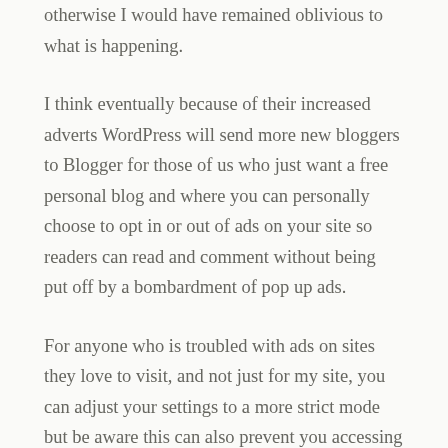otherwise I would have remained oblivious to what is happening.
I think eventually because of their increased adverts WordPress will send more new bloggers to Blogger for those of us who just want a free personal blog and where you can personally choose to opt in or out of ads on your site so readers can read and comment without being put off by a bombardment of pop up ads.
For anyone who is troubled with ads on sites they love to visit, and not just for my site, you can adjust your settings to a more strict mode but be aware this can also prevent you accessing some sites as it will also prevent cookies and most sites run with enabled cookies. Using Firefox or Opera as a browsing mechanism and of course Safari with Apple will limit ad